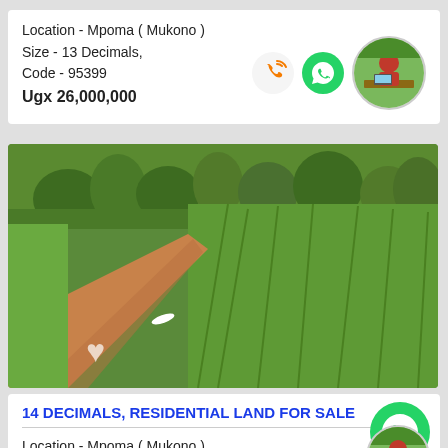Location - Mpoma ( Mukono )
Size - 13 Decimals,
Code - 95399
Ugx 26,000,000
[Figure (photo): Circular agent profile photo showing a man in red shirt at a desk with a laptop]
[Figure (photo): Photo of a dirt path with green grass overgrowth on the right side, trees in the background — vacant land plot]
14 DECIMALS, RESIDENTIAL LAND FOR SALE
Location - Mpoma ( Mukono )
Size - 14 Decimals,